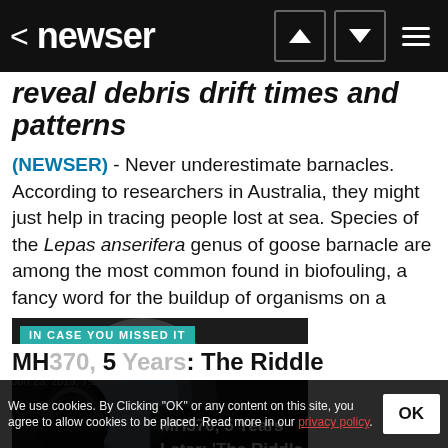newser
reveal debris drift times and patterns
(NEWSER) - Never underestimate barnacles. According to researchers in Australia, they might just help in tracing people lost at sea. Species of the Lepas anserifera genus of goose barnacle are among the most common found in biofouling, a fancy word for the buildup of organisms on a surface, and "play an..."
[Figure (photo): Photo card with label 'IN CASE YOU MISSED IT' showing a person wearing headphones looking out an airplane window, with overlay text: MH370, 5 Years Later: 'The Riddle May Not Be Deep']
Jun 23, 2019, 7:50 AM CDT
MH370, 5 Years Later: The Riddle
We use cookies. By Clicking "OK" or any content on this site, you agree to allow cookies to be placed. Read more in our privacy policy.